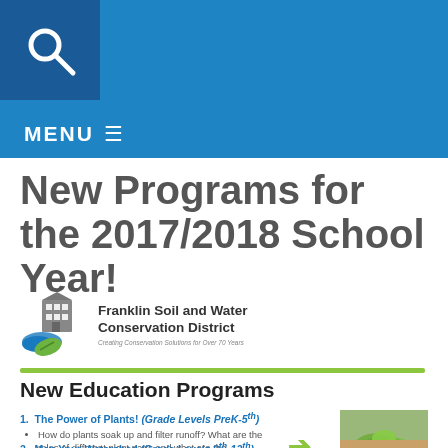[Figure (screenshot): Blue header bar with white search magnifying glass icon on dark blue square background]
MENU ≡
New Programs for the 2017/2018 School Year!
[Figure (logo): Franklin Soil and Water Conservation District logo with building and water/leaf imagery. Tagline: Creating Conservation Solutions for Over 70 Years]
New Education Programs
1. The Power of Plants! (Grade Levels PreK-5th) • How do plants soak up and filter runoff? What are the roles of different plant parts and what are the advantages of native plants?
[Figure (photo): Close-up photo of young green plant seedlings in soil]
2. Map Your Watershed (Grade Levels 9th-12th)
[Figure (photo): Photo of a watershed or water landscape]